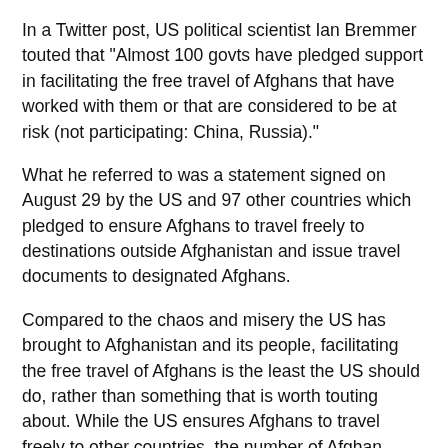In a Twitter post, US political scientist Ian Bremmer touted that "Almost 100 govts have pledged support in facilitating the free travel of Afghans that have worked with them or that are considered to be at risk (not participating: China, Russia)."
What he referred to was a statement signed on August 29 by the US and 97 other countries which pledged to ensure Afghans to travel freely to destinations outside Afghanistan and issue travel documents to designated Afghans.
Compared to the chaos and misery the US has brought to Afghanistan and its people, facilitating the free travel of Afghans is the least the US should do, rather than something that is worth touting about. While the US ensures Afghans to travel freely to other countries, the number of Afghan refugees the US has received is only a drop in the ocean.
According to US media reports, the US plans to accept about 50,000 Afghan refugees. Nonetheless, prior to the current crisis, at least 3.5 million Afghans remained uprooted within Afghanistan because of violence, political unrest, and lack of